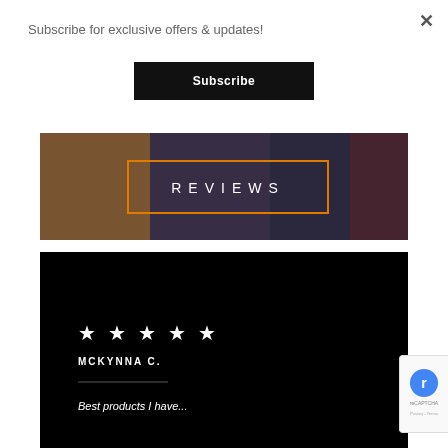Subscribe for exclusive offers & updates!
Subscribe
[Figure (photo): Photo of hands processing fish/poultry on a wire rack with a dark background, with an orange-bordered rectangle overlay containing the text REVIEWS in white capital letters with letter-spacing]
[Figure (other): Black background review card showing 5 white stars, reviewer name MCKYNNA C. in white uppercase, a horizontal divider line, and partially visible italic review text]
[Figure (other): reCAPTCHA badge partially visible at right edge showing blue logo and 'reCAPTCHA' and 'Privacy - Terms' text]